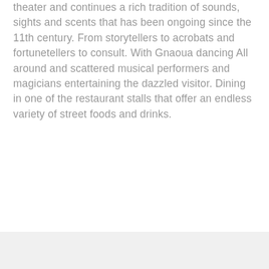theater and continues a rich tradition of sounds, sights and scents that has been ongoing since the 11th century. From storytellers to acrobats and fortunetellers to consult. With Gnaoua dancing All around and scattered musical performers and magicians entertaining the dazzled visitor. Dining in one of the restaurant stalls that offer an endless variety of street foods and drinks.